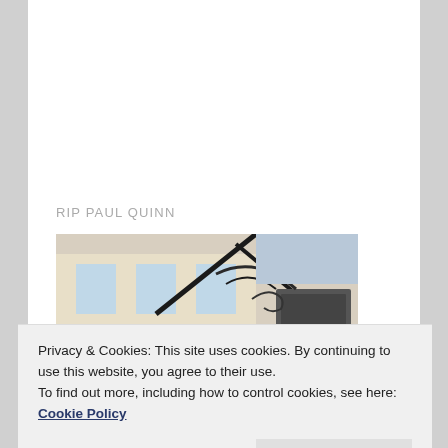[Figure (photo): Black and white portrait photo of a man with dark hair, goatee beard, and lip piercing, wearing a dark shirt, upper body visible]
RIP PAUL QUINN
[Figure (photo): Color photo of urban streetscape taken from below looking up, showing building facade and signage with metal brackets]
Privacy & Cookies: This site uses cookies. By continuing to use this website, you agree to their use.
To find out more, including how to control cookies, see here: Cookie Policy
[Figure (photo): Partial color photo at bottom showing people's faces, cropped]